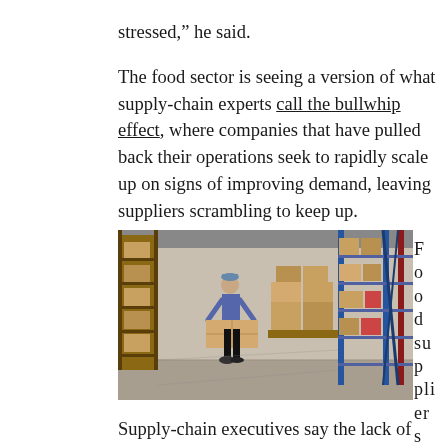stressed," he said.

The food sector is seeing a version of what supply-chain experts call the bullwhip effect, where companies that have pulled back their operations seek to rapidly scale up on signs of improving demand, leaving suppliers scrambling to keep up.
[Figure (photo): A warehouse worker carrying a large box in a distribution center with tall shelving racks stocked with boxes on both sides.]
Food suppliers
Supply-chain executives say the lack of